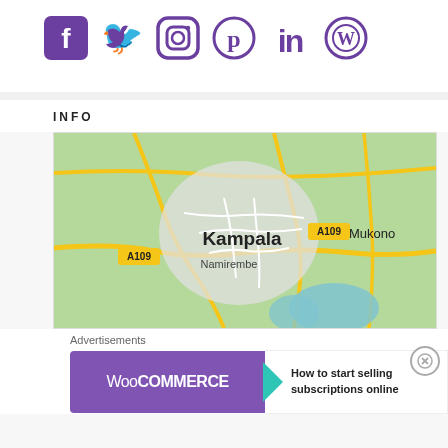[Figure (infographic): Row of 6 social media icons in purple: Facebook, Twitter, Instagram, Pinterest, LinkedIn, WordPress]
INFO
[Figure (map): Google Maps view centered on Kampala, Uganda, showing roads, the A109 highway label (×2), Namirembe, Mukono, and lake/water areas in blue-green]
Advertisements
[Figure (infographic): WooCommerce advertisement banner: purple left panel with WooCommerce logo and teal arrow, white right panel with text 'How to start selling subscriptions online']